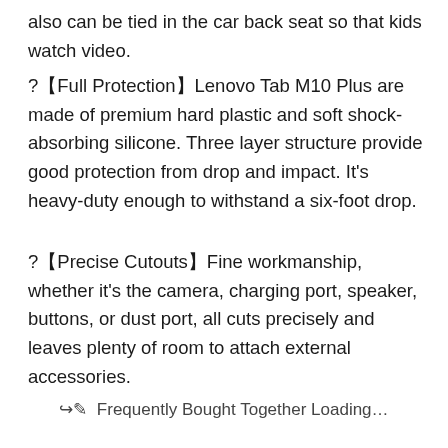also can be tied in the car back seat so that kids watch video.
?【Full Protection】Lenovo Tab M10 Plus are made of premium hard plastic and soft shock-absorbing silicone. Three layer structure provide good protection from drop and impact. It's heavy-duty enough to withstand a six-foot drop.
?【Precise Cutouts】Fine workmanship, whether it's the camera, charging port, speaker, buttons, or dust port, all cuts precisely and leaves plenty of room to attach external accessories.
🔄 Frequently Bought Together Loading...